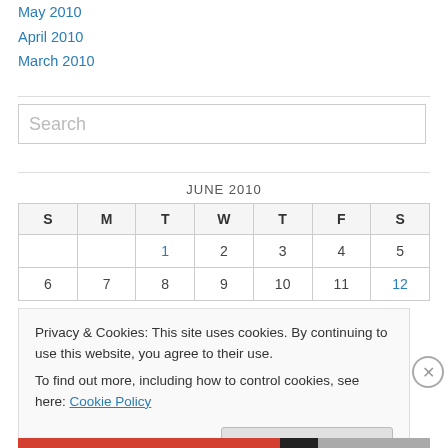May 2010
April 2010
March 2010
| S | M | T | W | T | F | S |
| --- | --- | --- | --- | --- | --- | --- |
|  |  | 1 | 2 | 3 | 4 | 5 |
| 6 | 7 | 8 | 9 | 10 | 11 | 12 |
Privacy & Cookies: This site uses cookies. By continuing to use this website, you agree to their use.
To find out more, including how to control cookies, see here: Cookie Policy
Close and accept